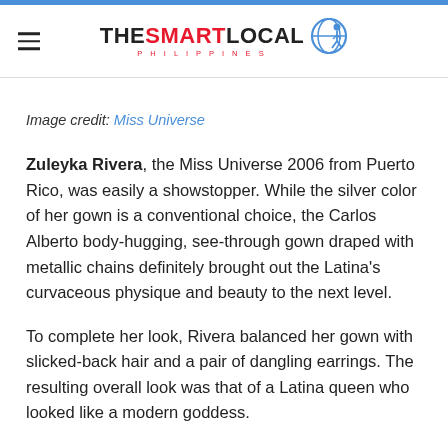THE SMART LOCAL PHILIPPINES
Image credit: Miss Universe
Zuleyka Rivera, the Miss Universe 2006 from Puerto Rico, was easily a showstopper. While the silver color of her gown is a conventional choice, the Carlos Alberto body-hugging, see-through gown draped with metallic chains definitely brought out the Latina's curvaceous physique and beauty to the next level.
To complete her look, Rivera balanced her gown with slicked-back hair and a pair of dangling earrings. The resulting overall look was that of a Latina queen who looked like a modern goddess.